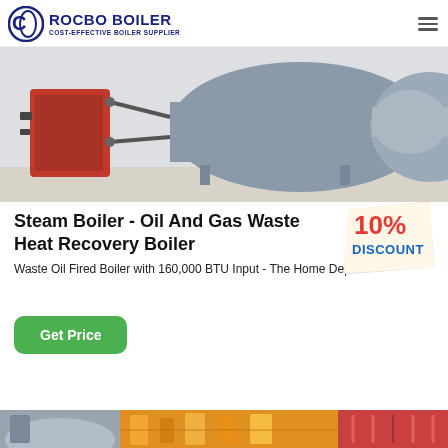[Figure (logo): Rocbo Boiler logo with blue circular C icon and text 'ROCBO BOILER / COST-EFFECTIVE BOILER SUPPLIER']
[Figure (photo): Industrial boiler equipment in a warehouse/factory setting, showing large cylindrical steel boiler with pipes and fittings]
Steam Boiler - Oil And Gas Waste Heat Recovery Boiler
[Figure (infographic): 10% DISCOUNT badge/sticker in red and blue text on a ticket-shaped background]
Waste Oil Fired Boiler with 160,000 BTU Input - The Home Depot
Get Price
[Figure (photo): Bottom strip showing partial images of boiler/industrial equipment in grey, orange/yellow, and red color sections]